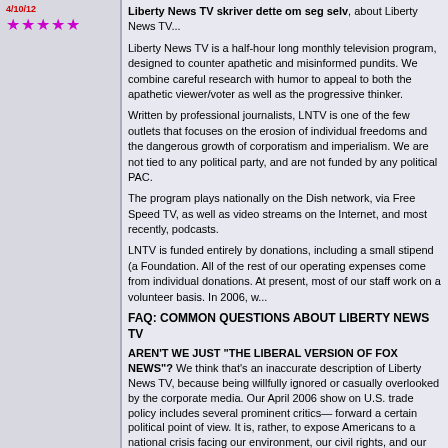★★★★★
Liberty News TV skriver dette om seg selv, about Liberty News TV...
Liberty News TV is a half-hour long monthly television program, designed to counter apathetic and misinformed pundits. We combine careful research with humor to appeal to both the apathetic viewer/voter as well as the progressive thinker.
Written by professional journalists, LNTV is one of the few outlets that focuses on the erosion of individual freedoms and the dangerous growth of corporatism and imperialism. We are not tied to any political party, and are not funded by any political PAC.
The program plays nationally on the Dish network, via Free Speech TV, as well as video streams on the Internet, and most recently, podcasts.
LNTV is funded entirely by donations, including a small stipend from the Hive Foundation. All of the rest of our operating expenses come from individual donations. At present, most of our staff work on a volunteer basis. In 2006, w...
FAQ: COMMON QUESTIONS ABOUT LIBERTY NEWS TV
AREN'T WE JUST "THE LIBERAL VERSION OF FOX NEWS"? We think that's an inaccurate description of Liberty News TV, because our mission is not to push forward a certain political point of view. It is, rather, to expose Americans to a national crisis facing our environment, our civil rights, and our future.
WHERE DO WE GET OUR INFORMATION? Secondary sources... Whenever possible, we go to primary data, such as voting records... organizations such as Newshounds.org, BuyBlue.org, MoveOn.org...
WHAT'S OUR MISSION? Liberty News TV is an educational news outlet. We like to think of ourselves as the modern equivalent of TV... the course of American politics. We're dedicated to exposing how... destroying the environment, and ultimately selling out our children...
WHO'S WATCHING? Unfortunately, none of our outlets have a way to track viewers nationally via Free Speech TV, which broadcasts on...